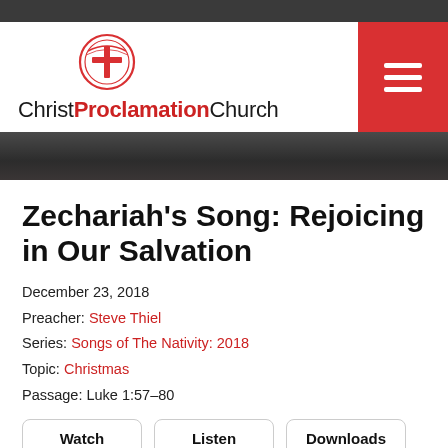[Figure (logo): Christ Proclamation Church logo with cross icon and text]
Zechariah's Song: Rejoicing in Our Salvation
December 23, 2018
Preacher: Steve Thiel
Series: Songs of The Nativity: 2018
Topic: Christmas
Passage: Luke 1:57–80
Watch   Listen   Downloads